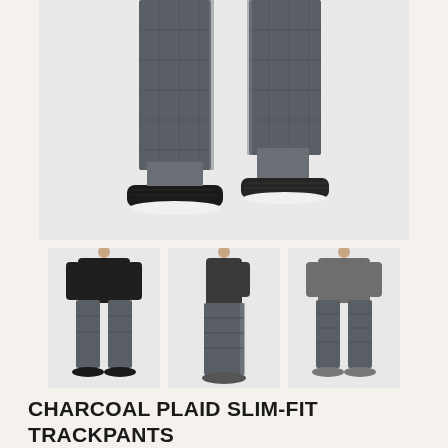[Figure (photo): Close-up photo of the lower half of a person wearing charcoal plaid slim-fit trackpants and black slip-on sneakers with white soles, against a white background.]
[Figure (photo): Thumbnail: Full-body front view of a man wearing a black t-shirt and charcoal plaid slim-fit trackpants with black slip-on shoes.]
[Figure (photo): Thumbnail: Side/three-quarter view of a man wearing charcoal plaid slim-fit trackpants, showing the side panel details, with grey slip-on shoes.]
[Figure (photo): Thumbnail: Front view of a man in a grey top and charcoal plaid slim-fit trackpants with grey slip-on shoes.]
CHARCOAL PLAID SLIM-FIT TRACKPANTS